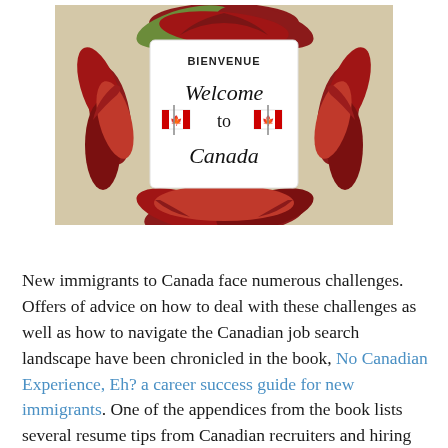[Figure (photo): A circular wreath made of red and autumn-colored maple leaves surrounds a sign that reads 'BIENVENUE' at the top and 'Welcome to Canada' in the center, with two small Canadian flags (red and white with maple leaf) on either side of 'to'.]
New immigrants to Canada face numerous challenges. Offers of advice on how to deal with these challenges as well as how to navigate the Canadian job search landscape have been chronicled in the book, No Canadian Experience, Eh? a career success guide for new immigrants. One of the appendices from the book lists several resume tips from Canadian recruiters and hiring managers. They